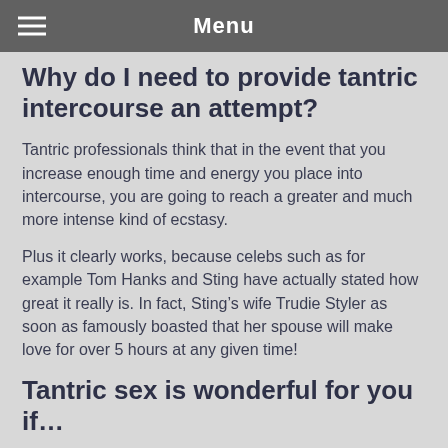Menu
Why do I need to provide tantric intercourse an attempt?
Tantric professionals think that in the event that you increase enough time and energy you place into intercourse, you are going to reach a greater and much more intense kind of ecstasy.
Plus it clearly works, because celebs such as for example Tom Hanks and Sting have actually stated how great it really is. In fact, Sting’s wife Trudie Styler as soon as famously boasted that her spouse will make love for over 5 hours at any given time!
Tantric sex is wonderful for you if…
– You’re seeking one thing not used to do during intercourse – You wish to be much more intimate together with your partner – You need to attempt to reconnect together with your spouse or boyfriend